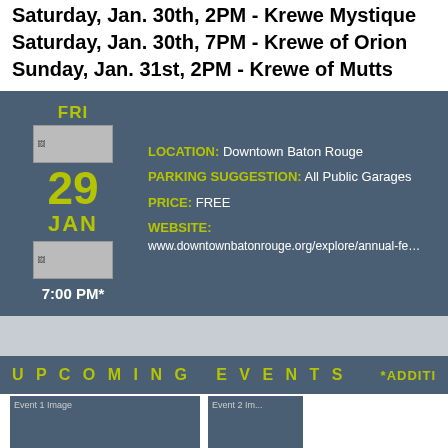Saturday, Jan. 30th, 2PM - Krewe Mystique
Saturday, Jan. 30th, 7PM - Krewe of Orion
Sunday, Jan. 31st, 2PM - Krewe of Mutts
FRI
29
JAN
7:00 PM*
LOCATION: Downtown Baton Rouge
PARKING SUGGESTION: All Public Garages
PRICE: FREE
WEBSITE: www.downtownbatonrouge.org/explore/annual-fe...
UPCOMING EVENTS
*ADDITI...
[Figure (photo): Event 1 image thumbnail]
[Figure (photo): Event 2 image thumbnail]